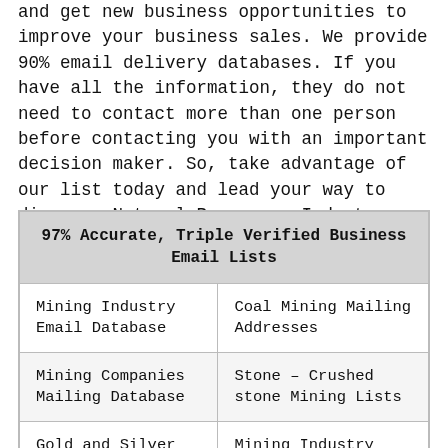and get new business opportunities to improve your business sales. We provide 90% email delivery databases. If you have all the information, they do not need to contact more than one person before contacting you with an important decision maker. So, take advantage of our list today and lead your way to discover Natural Resources Industry opportunities.
| 97% Accurate, Triple Verified Business Email Lists |
| --- |
| Mining Industry Email Database | Coal Mining Mailing Addresses |
| Mining Companies Mailing Database | Stone – Crushed stone Mining Lists |
| Gold and Silver Mining Companies List | Mining Industry Executives Mailing List |